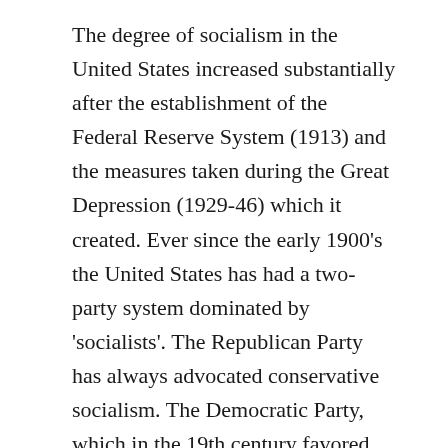The degree of socialism in the United States increased substantially after the establishment of the Federal Reserve System (1913) and the measures taken during the Great Depression (1929-46) which it created. Ever since the early 1900's the United States has had a two-party system dominated by 'socialists'. The Republican Party has always advocated conservative socialism. The Democratic Party, which in the 19th century favored libertarianism, advocates social-democratic socialism. So long as people are divided by Left and Right, Democratic and Republican, the US is prone to being influenced by factions who transcend party politics and from behind the scenes could possible exert strong control over the United States. They could do this by maintaining power over public opinion and hence over the course of government. Steadily, the United States has been travelling down the road to totalitarianism, and many people have not noticed,